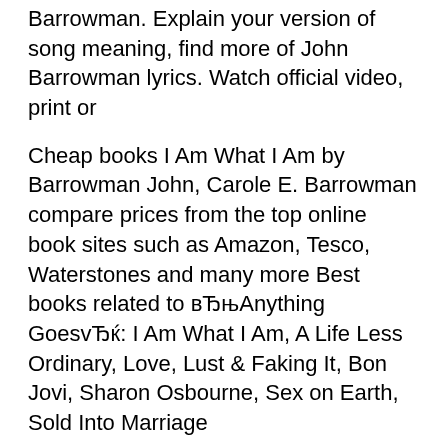Barrowman. Explain your version of song meaning, find more of John Barrowman lyrics. Watch official video, print or
Cheap books I Am What I Am by Barrowman John, Carole E. Barrowman compare prices from the top online book sites such as Amazon, Tesco, Waterstones and many more Best books related to вЂњAnything GoesvЂќ: I Am What I Am, A Life Less Ordinary, Love, Lust & Faking It, Bon Jovi, Sharon Osbourne, Sex on Earth, Sold Into Marriage
I Am What I Am has 1,189 ratings and 118 reviews. TL said: I loved the way John/Carole wrote this book... it felt like I was invited into the house and w... Anything Goes gave you the story so far. I Am